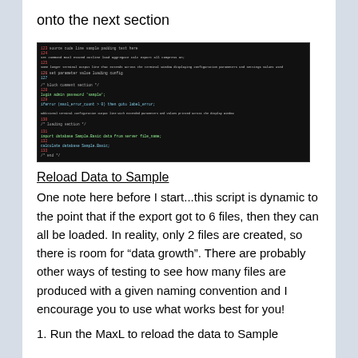onto the next section
[Figure (screenshot): Dark terminal/code editor screenshot showing colorful code lines on a black background]
Reload Data to Sample
One note here before I start...this script is dynamic to the point that if the export got to 6 files, then they can all be loaded.  In reality, only 2 files are created, so there is room for “data growth”.  There are probably other ways of testing to see how many files are produced with a given naming convention and I encourage you to use what works best for you!
1. Run the MaxL to reload the data to Sample